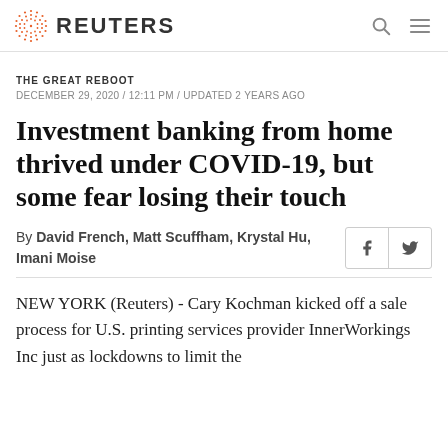REUTERS
THE GREAT REBOOT
DECEMBER 29, 2020 / 12:11 PM / UPDATED 2 YEARS AGO
Investment banking from home thrived under COVID-19, but some fear losing their touch
By David French, Matt Scuffham, Krystal Hu, Imani Moise
NEW YORK (Reuters) - Cary Kochman kicked off a sale process for U.S. printing services provider InnerWorkings Inc just as lockdowns to limit the